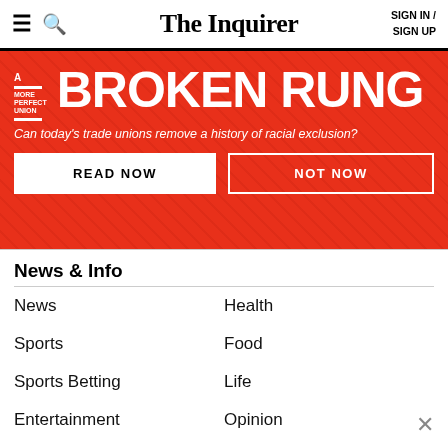≡  🔍  The Inquirer  SIGN IN / SIGN UP
[Figure (infographic): Red banner for 'A More Perfect Union: BROKEN RUNG' with subtitle 'Can today's trade unions remove a history of racial exclusion?' and two buttons: READ NOW and NOT NOW]
News & Info
News
Health
Sports
Food
Sports Betting
Life
Entertainment
Opinion
Business
Archives